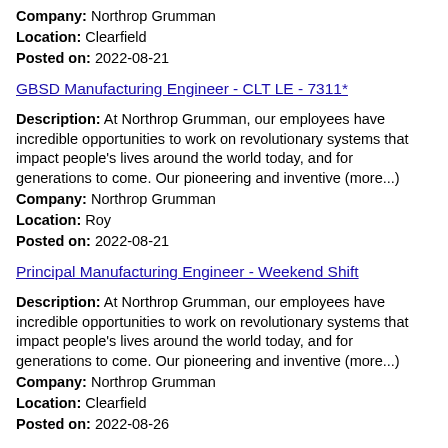Company: Northrop Grumman
Location: Clearfield
Posted on: 2022-08-21
GBSD Manufacturing Engineer - CLT LE - 7311*
Description: At Northrop Grumman, our employees have incredible opportunities to work on revolutionary systems that impact people's lives around the world today, and for generations to come. Our pioneering and inventive (more...)
Company: Northrop Grumman
Location: Roy
Posted on: 2022-08-21
Principal Manufacturing Engineer - Weekend Shift
Description: At Northrop Grumman, our employees have incredible opportunities to work on revolutionary systems that impact people's lives around the world today, and for generations to come. Our pioneering and inventive (more...)
Company: Northrop Grumman
Location: Clearfield
Posted on: 2022-08-26
Principal Manufacturing Engineer - Ability to Obtain DoD Secret Clearance - Night Shift
Description: At Northrop Grumman, our employees have incredible opportunities to work on revolutionary systems that impact people's lives around the world today, and for generations